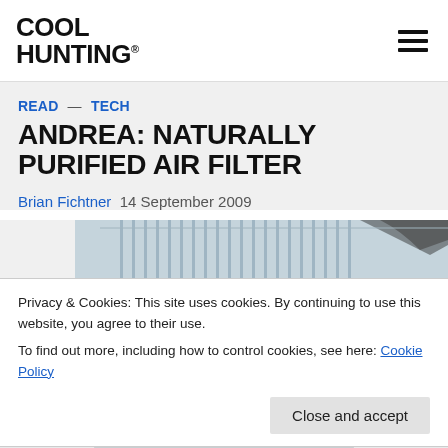COOL HUNTING®
READ — TECH
ANDREA: NATURALLY PURIFIED AIR FILTER
Brian Fichtner  14 September 2009
[Figure (photo): Partial view of an air filter or ventilation unit with metallic slats, partially obscured]
Privacy & Cookies: This site uses cookies. By continuing to use this website, you agree to their use.
To find out more, including how to control cookies, see here: Cookie Policy
Close and accept